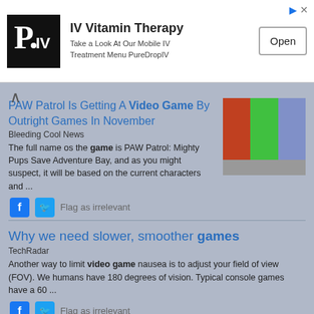[Figure (screenshot): Advertisement banner for IV Vitamin Therapy by PureDropIV with logo, text, and Open button]
PAW Patrol Is Getting A Video Game By Outright Games In November
Bleeding Cool News
The full name os the game is PAW Patrol: Mighty Pups Save Adventure Bay, and as you might suspect, it will be based on the current characters and ...
Why we need slower, smoother games
TechRadar
Another way to limit video game nausea is to adjust your field of view (FOV). We humans have 180 degrees of vision. Typical console games have a 60 ...